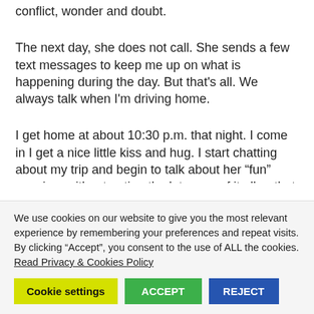conflict, wonder and doubt.
The next day, she does not call. She sends a few text messages to keep me up on what is happening during the day. But that's all. We always talk when I'm driving home.
I get home at about 10:30 p.m. that night. I come in I get a nice little kiss and hug. I start chatting about my trip and begin to talk about her “fun” evening, without noting the lateness of it all or that he was there for almost four
We use cookies on our website to give you the most relevant experience by remembering your preferences and repeat visits. By clicking “Accept”, you consent to the use of ALL the cookies. Read Privacy & Cookies Policy
Cookie settings   ACCEPT   REJECT